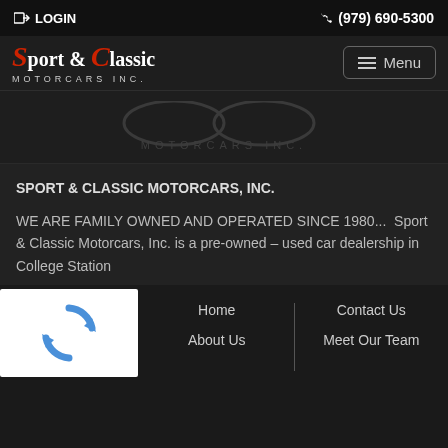LOGIN  (979) 690-5300
[Figure (logo): Sport & Classic Motorcars Inc. logo with red cursive lettering and menu button]
[Figure (logo): Watermark/background version of Sport & Classic Motorcars Inc. logo with MOTORCARS INC. text in dark gray]
SPORT & CLASSIC MOTORCARS, INC.
WE ARE FAMILY OWNED AND OPERATED SINCE 1980...  Sport & Classic Motorcars, Inc. is a pre-owned – used car dealership in College Station
[Figure (other): reCAPTCHA widget with rotating arrow logo]
Home
About Us
Contact Us
Meet Our Team